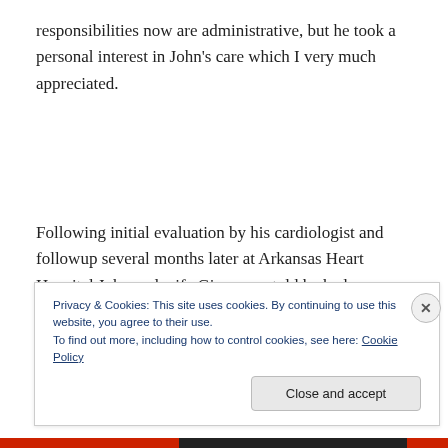responsibilities now are administrative, but he took a personal interest in John's care which I very much appreciated.
Following initial evaluation by his cardiologist and followup several months later at Arkansas Heart Hospital John and wife Gina were told he had significant valvular heart disease. The problem primarily involving a “leaking” aortic
Privacy & Cookies: This site uses cookies. By continuing to use this website, you agree to their use.
To find out more, including how to control cookies, see here: Cookie Policy
Close and accept